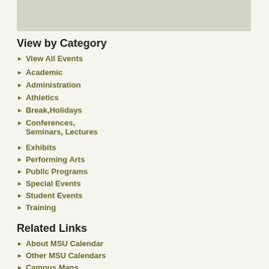[Figure (other): Gray box placeholder image area]
View by Category
View All Events
Academic
Administration
Athletics
Break,Holidays
Conferences, Seminars, Lectures
Exhibits
Performing Arts
Public Programs
Special Events
Student Events
Training
Related Links
About MSU Calendar
Other MSU Calendars
Campus Maps
Unpacking Collections: The Legacy of Cuesta Benberry, An African American Quilt Scholar
Exhibits
(Museum, Gardens, ...)
Dear Mr. Mandela, Dear Mrs. Parks: Children's Letters, Global Lessons
Exhibits
(Museum, Gardens, ...)
Quilt Scholar
Exhibits
(Museum, Gardens, ...)
Dear Mr. Mandela, Dear Mrs. Parks: Children's Letters, Global Lessons
Exhibits
(Museum, Gardens, ...)
"Avelution" Birds in the Development of Darwin's Theory of Evolution
Exhibits
"Avelution" Birds in the Development of Darwin's Theory of Evolution
Exhibits